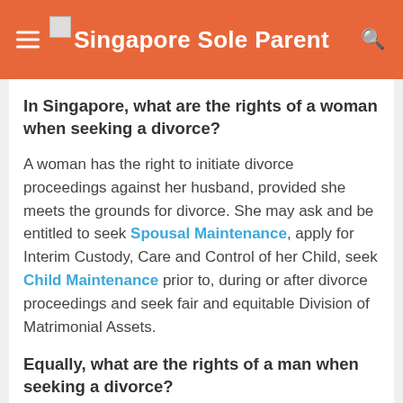Singapore Sole Parent
In Singapore, what are the rights of a woman when seeking a divorce?
A woman has the right to initiate divorce proceedings against her husband, provided she meets the grounds for divorce. She may ask and be entitled to seek Spousal Maintenance, apply for Interim Custody, Care and Control of her Child, seek Child Maintenance prior to, during or after divorce proceedings and seek fair and equitable Division of Matrimonial Assets.
Equally, what are the rights of a man when seeking a divorce?
Just like for a woman, a man has the right to initiate divorce proceedings against his wife, provided he meets the grounds for divorce. He